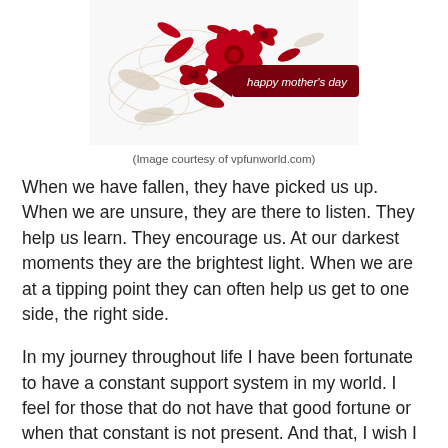[Figure (illustration): Happy Mother's Day decorative image with red floral design and a dark red banner reading 'happy mother's day']
(Image courtesy of vpfunworld.com)
When we have fallen, they have picked us up. When we are unsure, they are there to listen. They help us learn. They encourage us. At our darkest moments they are the brightest light. When we are at a tipping point they can often help us get to one side, the right side.
In my journey throughout life I have been fortunate to have a constant support system in my world. I feel for those that do not have that good fortune or when that constant is not present. And that, I wish I could control. I can try and provide that for someone else.
The other day Kevin Durant of the NBA gave one of the most heartfelt speeches as he was awarded the Most Valuable Player Award for the league. Not a huge NBA fan I typically